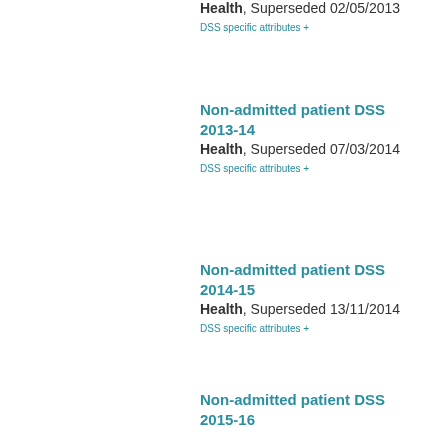Health, Superseded 02/05/2013
DSS specific attributes +
Non-admitted patient DSS 2013-14
Health, Superseded 07/03/2014
DSS specific attributes +
Non-admitted patient DSS 2014-15
Health, Superseded 13/11/2014
DSS specific attributes +
Non-admitted patient DSS 2015-16